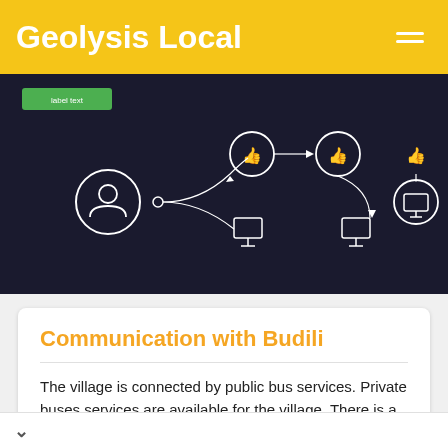Geolysis Local
[Figure (network-graph): Dark background network/flowchart diagram showing icons of a person, thumbs-up icons, monitor icons connected by curved lines and arrows]
Communication with Budili
The village is connected by public bus services. Private buses services are available for the village. There is a railway station more than 10 kms away from the village.
Postal Address: